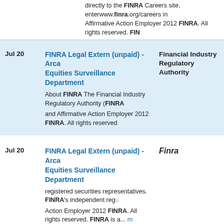directly to the FINRA Careers site, enterwww.finra.org/careers in Affirmative Action Employer 2012 FINRA. All rights reserved. FIN
| Date | Job Title | Company |
| --- | --- | --- |
| Jul 20 | FINRA Legal Extern (unpaid) - Arca Equities Surveillance Department | Financial Industry Regulatory Authority |
| Jul 20 | FINRA Legal Extern (unpaid) - Arca Equities Surveillance Department | Finra |
| Jul 18 | Corporate FINRA and Securities Litigation attorney (partner) | Law Firm |
| Jul 16 | FINRA Extern (unpaid) - Market Regulation, Legal | Financial Industry Regulatory Authority |